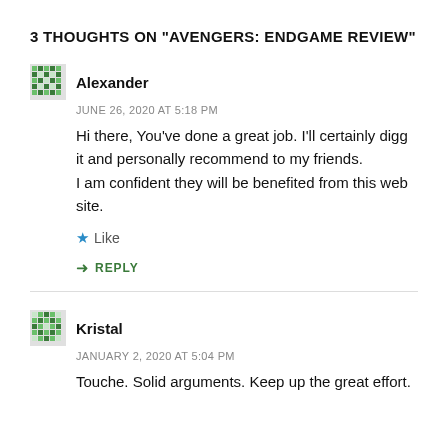3 THOUGHTS ON "AVENGERS: ENDGAME REVIEW"
Alexander
JUNE 26, 2020 AT 5:18 PM
Hi there, You've done a great job. I'll certainly digg it and personally recommend to my friends.
I am confident they will be benefited from this web site.
Like
REPLY
Kristal
JANUARY 2, 2020 AT 5:04 PM
Touche. Solid arguments. Keep up the great effort.